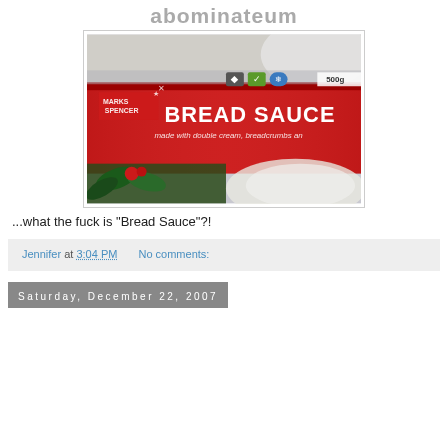abominateum
[Figure (photo): Close-up photo of a Marks & Spencer Bread Sauce package. Red packaging with white text reading 'BREAD SAUCE' and smaller text 'made with double cream, breadcrumbs and'. M&S logo visible. Green holly decoration at bottom. 500g label visible top right. Various quality marks/icons visible.]
...what the fuck is "Bread Sauce"?!
Jennifer at 3:04 PM    No comments:
Saturday, December 22, 2007